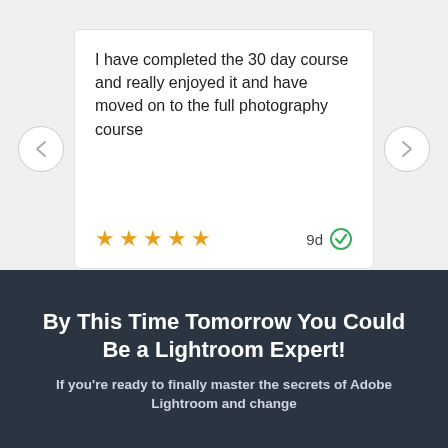I have completed the 30 day course and really enjoyed it and have moved on to the full photography course
[Figure (other): Five gold star rating icons and a '9d' verified review badge with green checkmark]
By This Time Tomorrow You Could Be a Lightroom Expert!
If you're ready to finally master the secrets of Adobe Lightroom and change